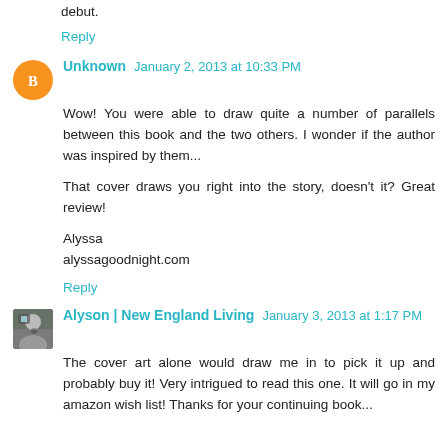debut.
Reply
Unknown  January 2, 2013 at 10:33 PM
Wow! You were able to draw quite a number of parallels between this book and the two others. I wonder if the author was inspired by them...

That cover draws you right into the story, doesn't it? Great review!

Alyssa
alyssagoodnight.com
Reply
Alyson | New England Living  January 3, 2013 at 1:17 PM
The cover art alone would draw me in to pick it up and probably buy it! Very intrigued to read this one. It will go in my amazon wish list! Thanks for your continuing book...